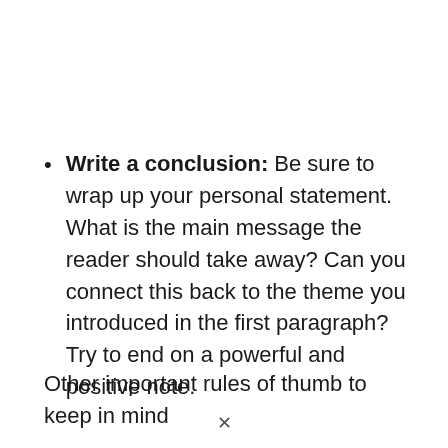Write a conclusion: Be sure to wrap up your personal statement. What is the main message the reader should take away? Can you connect this back to the theme you introduced in the first paragraph? Try to end on a powerful and positive note.
Other important rules of thumb to keep in mind